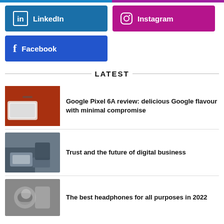[Figure (other): Social media button for LinkedIn (blue)]
[Figure (other): Social media button for Instagram (pink/magenta)]
[Figure (other): Social media button for Facebook (blue)]
LATEST
[Figure (photo): Phone on red wood chips background - Google Pixel 6A review article thumbnail]
Google Pixel 6A review: delicious Google flavour with minimal compromise
[Figure (photo): People working on laptops - Trust and the future of digital business article thumbnail]
Trust and the future of digital business
[Figure (photo): Person with headphones - The best headphones for all purposes in 2022 article thumbnail]
The best headphones for all purposes in 2022